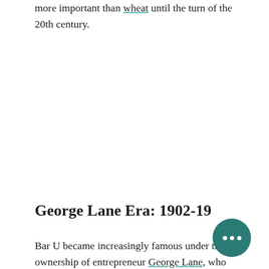more important than wheat until the turn of the 20th century.
George Lane Era: 1902-19…
Bar U became increasingly famous under the ownership of entrepreneur George Lane, who